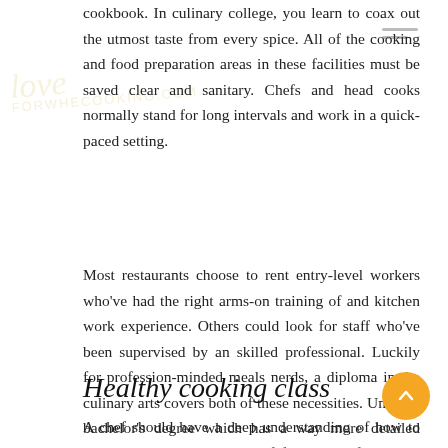cookbook. In culinary college, you learn to coax out the utmost taste from every spice. All of the cooking and food preparation areas in these facilities must be saved clear and sanitary. Chefs and head cooks normally stand for long intervals and work in a quick-paced setting.
Most restaurants choose to rent entry-level workers who've had the right arms-on training of and kitchen work experience. Others could look for staff who've been supervised by an skilled professional. Luckily for profession-minded meals nerds, a diploma in the culinary arts covers both of these necessities. Unlike a bachelor's degree which has a way more detailed curriculum, a culinary diploma focuses extra on the basics of food preparation, safety, sanitation, and diet.
Healthy cooking class
A chef should have a deep understanding of how to prepare dinner many kinds of food, what flavors go together, tips on how to handle kitchen equipment (knife expertise come in